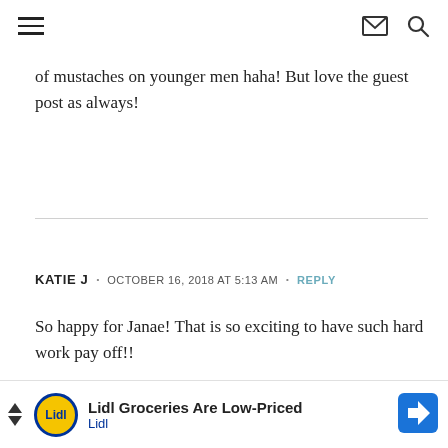navigation header with hamburger menu, mail icon, and search icon
of mustaches on younger men haha! But love the guest post as always!
KATIE J  •  OCTOBER 16, 2018 AT 5:13 AM  •  REPLY
So happy for Janae! That is so exciting to have such hard work pay off!!
I've been an ICU nurse for almost 7 years now! I live in
[Figure (other): Lidl advertisement banner at bottom of page showing Lidl logo, text 'Lidl Groceries Are Low-Priced' and a navigation arrow icon]